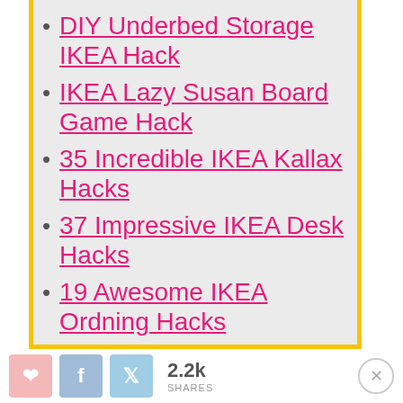DIY Underbed Storage IKEA Hack
IKEA Lazy Susan Board Game Hack
35 Incredible IKEA Kallax Hacks
37 Impressive IKEA Desk Hacks
19 Awesome IKEA Ordning Hacks
2.2k SHARES